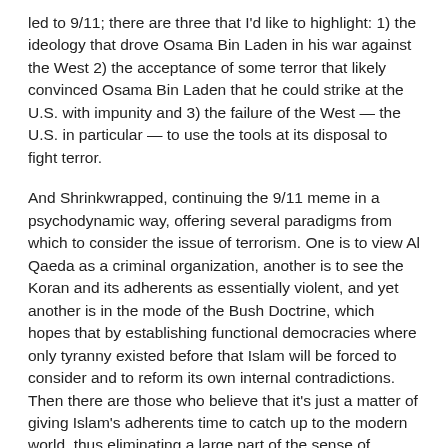led to 9/11; there are three that I'd like to highlight: 1) the ideology that drove Osama Bin Laden in his war against the West 2) the acceptance of some terror that likely convinced Osama Bin Laden that he could strike at the U.S. with impunity and 3) the failure of the West — the U.S. in particular — to use the tools at its disposal to fight terror.
And Shrinkwrapped, continuing the 9/11 meme in a psychodynamic way, offering several paradigms from which to consider the issue of terrorism. One is to view Al Qaeda as a criminal organization, another is to see the Koran and its adherents as essentially violent, and yet another is in the mode of the Bush Doctrine, which hopes that by establishing functional democracies where only tyranny existed before that Islam will be forced to consider and to reform its own internal contradictions. Then there are those who believe that it's just a matter of giving Islam's adherents time to catch up to the modern world, thus eliminating a large part of the sense of humiliation and inadequacy (I think my summary here is correct. Shrinkwrapped may not agree). Then he says: